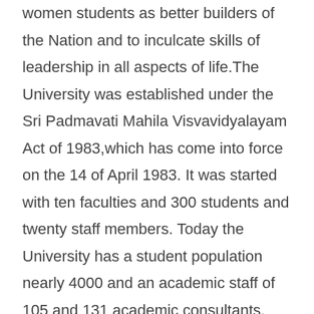women students as better builders of the Nation and to inculcate skills of leadership in all aspects of life.The University was established under the Sri Padmavati Mahila Visvavidyalayam Act of 1983,which has come into force on the 14 of April 1983. It was started with ten faculties and 300 students and twenty staff members. Today the University has a student population nearly 4000 and an academic staff of 105 and 131 academic consultants. This year the University has 59 courses at the post-graduate and undergraduate level and a good component of